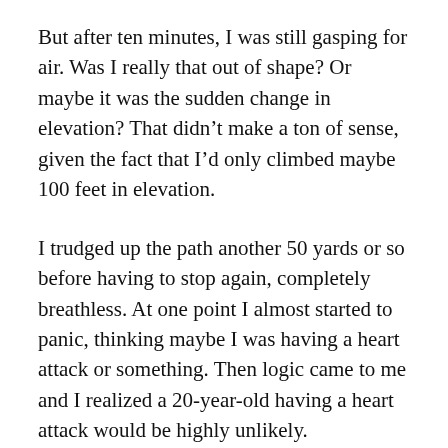But after ten minutes, I was still gasping for air. Was I really that out of shape? Or maybe it was the sudden change in elevation? That didn't make a ton of sense, given the fact that I'd only climbed maybe 100 feet in elevation.
I trudged up the path another 50 yards or so before having to stop again, completely breathless. At one point I almost started to panic, thinking maybe I was having a heart attack or something. Then logic came to me and I realized a 20-year-old having a heart attack would be highly unlikely. Regardless, I was legitimately struggling to breathe.
I took a hard look at the summit of the hill, grousing internally about not making it up there. I'm sure the